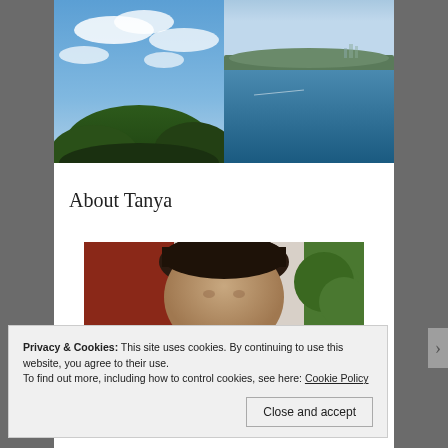[Figure (photo): Two landscape photos side by side: left photo shows blue sky with white clouds and green tree tops; right photo shows a blue ocean or harbor view with land in the background]
About Tanya
[Figure (photo): Portrait/headshot of a person with dark hair, photographed from above, showing the top and front of the head]
Privacy & Cookies: This site uses cookies. By continuing to use this website, you agree to their use.
To find out more, including how to control cookies, see here: Cookie Policy
Close and accept